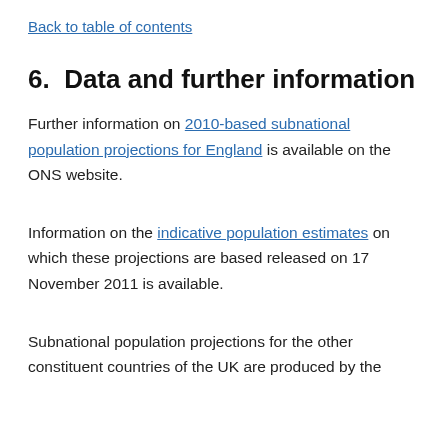Back to table of contents
6.  Data and further information
Further information on 2010-based subnational population projections for England is available on the ONS website.
Information on the indicative population estimates on which these projections are based released on 17 November 2011 is available.
Subnational population projections for the other constituent countries of the UK are produced by the